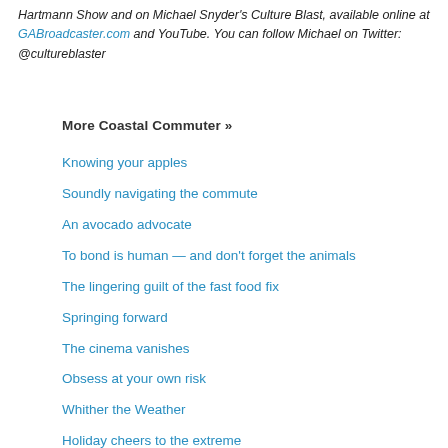Hartmann Show and on Michael Snyder's Culture Blast, available online at GABroadcaster.com and YouTube. You can follow Michael on Twitter: @cultureblaster
More Coastal Commuter »
Knowing your apples
Soundly navigating the commute
An avocado advocate
To bond is human — and don't forget the animals
The lingering guilt of the fast food fix
Springing forward
The cinema vanishes
Obsess at your own risk
Whither the Weather
Holiday cheers to the extreme